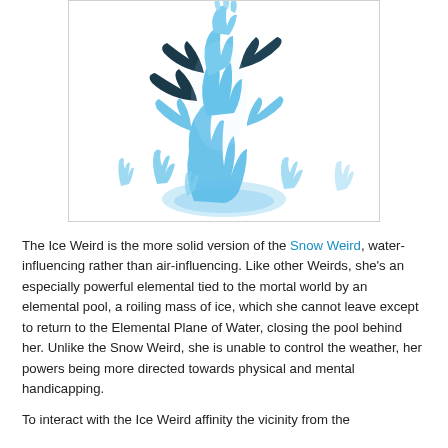[Figure (illustration): An illustration of an Ice Weird creature — a tall, swirling blue ice elemental figure with dark fin-like appendages, surrounded by smaller blue icy hand-like protrusions emerging from the ground.]
The Ice Weird is the more solid version of the Snow Weird, water-influencing rather than air-influencing. Like other Weirds, she's an especially powerful elemental tied to the mortal world by an elemental pool, a roiling mass of ice, which she cannot leave except to return to the Elemental Plane of Water, closing the pool behind her. Unlike the Snow Weird, she is unable to control the weather, her powers being more directed towards physical and mental handicapping.
To interact with the Ice Weird affinity the vicinity from the...